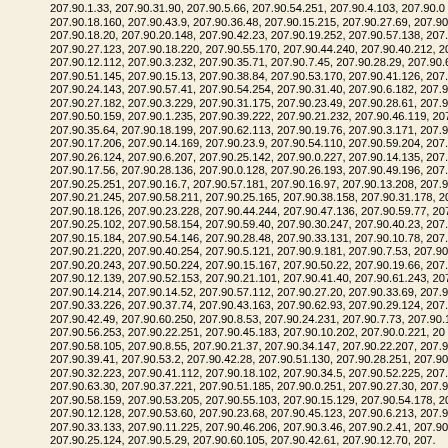207.90.1.33, 207.90.31.90, 207.90.5.66, 207.90.54.251, 207.90.4.103, 207.90.0... 207.90.18.160, 207.90.43.9, 207.90.36.48, 207.90.15.215, 207.90.27.69, 207.90... 207.90.18.20, 207.90.20.148, 207.90.42.23, 207.90.19.252, 207.90.57.138, 207... 207.90.27.123, 207.90.18.220, 207.90.55.170, 207.90.44.240, 207.90.40.212, 20... 207.90.12.112, 207.90.3.232, 207.90.35.71, 207.90.7.45, 207.90.28.29, 207.90.6... 207.90.51.145, 207.90.15.13, 207.90.38.84, 207.90.53.170, 207.90.41.126, 207... 207.90.24.143, 207.90.57.41, 207.90.54.254, 207.90.31.40, 207.90.6.182, 207.9... 207.90.27.182, 207.90.3.229, 207.90.31.175, 207.90.23.49, 207.90.28.61, 207.9... 207.90.50.159, 207.90.1.235, 207.90.39.222, 207.90.21.232, 207.90.46.119, 20... 207.90.35.64, 207.90.18.199, 207.90.62.113, 207.90.19.76, 207.90.3.171, 207.9... 207.90.17.206, 207.90.14.169, 207.90.23.9, 207.90.54.110, 207.90.59.204, 207... 207.90.26.124, 207.90.6.207, 207.90.25.142, 207.90.0.227, 207.90.14.135, 207... 207.90.17.56, 207.90.28.136, 207.90.0.128, 207.90.26.193, 207.90.49.196, 207... 207.90.25.251, 207.90.16.7, 207.90.57.181, 207.90.16.97, 207.90.13.208, 207.9... 207.90.21.245, 207.90.58.211, 207.90.25.165, 207.90.38.158, 207.90.31.178, 20... 207.90.18.126, 207.90.23.228, 207.90.44.244, 207.90.47.136, 207.90.59.77, 207... 207.90.25.102, 207.90.58.154, 207.90.59.40, 207.90.30.247, 207.90.40.23, 207... 207.90.15.184, 207.90.54.146, 207.90.28.48, 207.90.33.131, 207.90.10.78, 207... 207.90.21.220, 207.90.40.254, 207.90.5.121, 207.90.9.181, 207.90.7.53, 207.90... 207.90.20.243, 207.90.50.224, 207.90.15.167, 207.90.50.22, 207.90.19.66, 207... 207.90.12.139, 207.90.52.153, 207.90.21.101, 207.90.41.40, 207.90.61.243, 207... 207.90.14.214, 207.90.14.52, 207.90.57.112, 207.90.27.20, 207.90.33.69, 207.9... 207.90.33.226, 207.90.37.74, 207.90.43.163, 207.90.62.93, 207.90.29.124, 207... 207.90.42.49, 207.90.60.250, 207.90.8.53, 207.90.24.231, 207.90.7.73, 207.90.1... 207.90.56.253, 207.90.22.251, 207.90.45.183, 207.90.10.202, 207.90.0.221, 20... 207.90.58.105, 207.90.8.55, 207.90.21.37, 207.90.34.147, 207.90.22.207, 207.9... 207.90.39.41, 207.90.53.2, 207.90.42.28, 207.90.51.130, 207.90.28.251, 207.90... 207.90.32.223, 207.90.41.112, 207.90.18.102, 207.90.34.5, 207.90.52.225, 207... 207.90.63.30, 207.90.37.221, 207.90.51.185, 207.90.0.251, 207.90.27.30, 207.9... 207.90.58.159, 207.90.53.205, 207.90.55.103, 207.90.15.129, 207.90.54.178, 20... 207.90.12.128, 207.90.53.60, 207.90.23.68, 207.90.45.123, 207.90.6.213, 207.9... 207.90.33.133, 207.90.11.225, 207.90.46.206, 207.90.3.46, 207.90.2.41, 207.90... 207.90.25.124, 207.90.5.29, 207.90.60.105, 207.90.42.61, 207.90.12.70, 207...